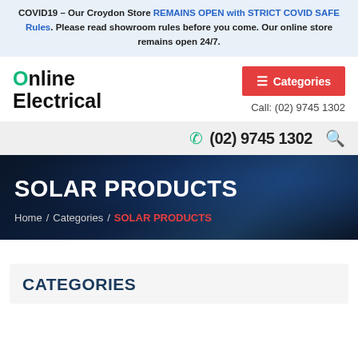COVID19 – Our Croydon Store REMAINS OPEN with STRICT COVID SAFE Rules. Please read showroom rules before you come. Our online store remains open 24/7.
[Figure (logo): Online Electrical logo with teal O circle]
≡ Categories
Call: (02) 9745 1302
(02) 9745 1302
SOLAR PRODUCTS
Home / Categories / SOLAR PRODUCTS
CATEGORIES